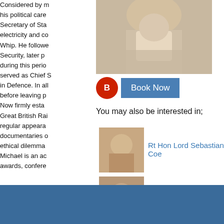[Figure (photo): Portrait photo of a man in suit, cropped to show lower face and neck area]
B  Book Now
You may also be interested in;
[Figure (photo): Thumbnail photo of Rt Hon Lord Sebastian Coe]
Rt Hon Lord Sebastian Coe
[Figure (photo): Thumbnail photo of Rt Hon Ann Widdecombe]
Rt Hon Ann Widdecombe
[Figure (photo): Thumbnail photo of Rt Hon Kenneth Clarke]
Rt Hon Kenneth Clarke
Considered by many as one of the highlights of his political career, Michael served as Secretary of State for Energy, responsible for electricity and coal industries, as Government Chief Whip. He followed this as Secretary of State for Social Security, later promoted to Deputy Prime Minister during this period of the Conservative Party. He served as Chief Secretary to the Treasury and in Defence. In all Michael served in government before leaving parliament in 1997. Now firmly established on the after dinner circuit, Great British Rail journeys, two series, as well as regular appearances on television and in documentaries on current affairs and ethical dilemmas. Michael is an accomplished chairman for awards, confere